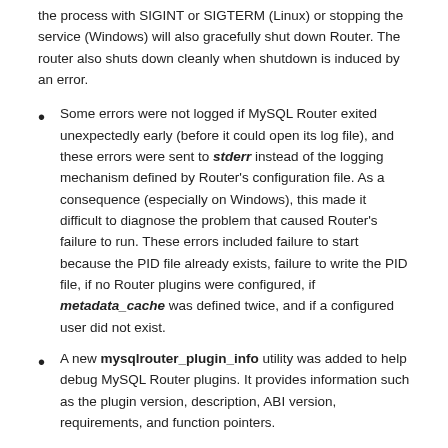the process with SIGINT or SIGTERM (Linux) or stopping the service (Windows) will also gracefully shut down Router. The router also shuts down cleanly when shutdown is induced by an error.
Some errors were not logged if MySQL Router exited unexpectedly early (before it could open its log file), and these errors were sent to stderr instead of the logging mechanism defined by Router's configuration file. As a consequence (especially on Windows), this made it difficult to diagnose the problem that caused Router's failure to run. These errors included failure to start because the PID file already exists, failure to write the PID file, if no Router plugins were configured, if metadata_cache was defined twice, and if a configured user did not exist.
A new mysqlrouter_plugin_info utility was added to help debug MySQL Router plugins. It provides information such as the plugin version, description, ABI version, requirements, and function pointers.
Bugs Fixed